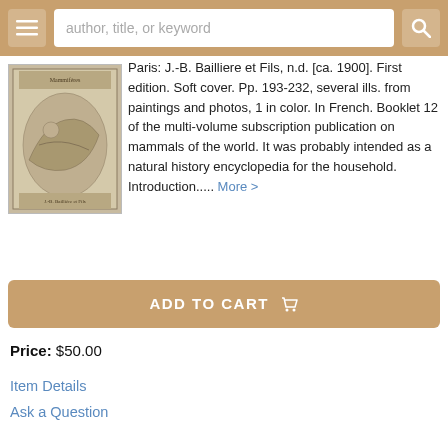author, title, or keyword
[Figure (photo): Cover of a natural history booklet featuring an engraving of a reclining figure with animals, published by J.-B. Bailliere et Fils, Paris]
Paris: J.-B. Bailliere et Fils, n.d. [ca. 1900]. First edition. Soft cover. Pp. 193-232, several ills. from paintings and photos, 1 in color. In French. Booklet 12 of the multi-volume subscription publication on mammals of the world. It was probably intended as a natural history encyclopedia for the household. Introduction..... More >
ADD TO CART
Price: $50.00
Item Details
Ask a Question